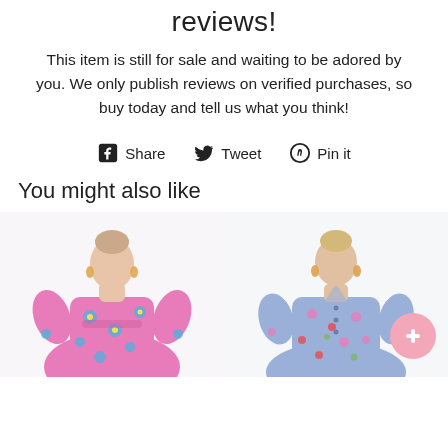reviews!
This item is still for sale and waiting to be adored by you. We only publish reviews on verified purchases, so buy today and tell us what you think!
Share  Tweet  Pin it
You might also like
[Figure (photo): Two product photos side by side showing women wearing floral dresses — left in pink floral, right in blue/purple floral.]